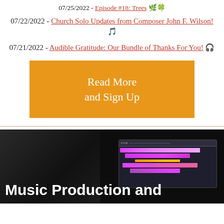07/25/2022 - Episode #18: Trees 🌿🍀
07/22/2022 - Church Solo Updates from Composer John F. Wilson! 🎵
07/21/2022 - Audible Gratitude: Our Bundle of Thanks For You! 🎧
Read More and Sign Up
[Figure (photo): Dark music production studio background with a DAW (Digital Audio Workstation) screen showing colorful pink/magenta audio tracks, overlaid with bold white text reading 'Music Production and']